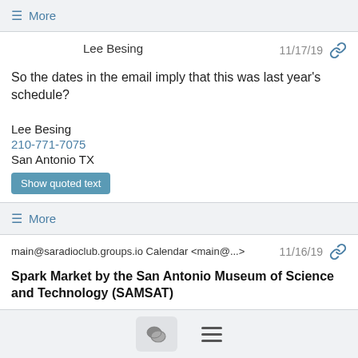≡ More
Lee Besing
11/17/19
So the dates in the email imply that this was last year's schedule?
Lee Besing
210-771-7075
San Antonio TX
Show quoted text
≡ More
main@saradioclub.groups.io Calendar <main@...>  11/16/19
Spark Market by the San Antonio Museum of Science and Technology (SAMSAT)